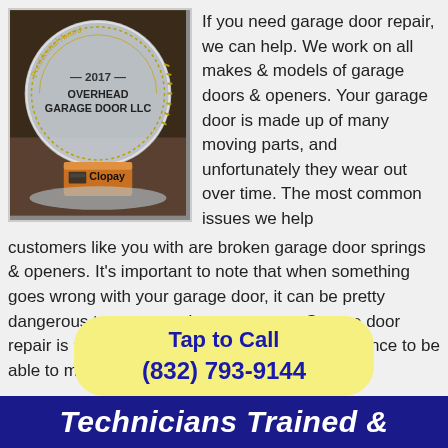[Figure (photo): 2017 Presidential Award trophy for Overhead Garage Door LLC, with Clopay logo on the base, circular glass award]
If you need garage door repair, we can help. We work on all makes & models of garage doors & openers. Your garage door is made up of many moving parts, and unfortunately they wear out over time. The most common issues we help customers like you with are broken garage door springs & openers. It's important to note that when something goes wrong with your garage door, it can be pretty dangerous to try to repair on your own. Garage door repair is a skilled trade that takes time & experience to be able to make most repairs safely.
Tap to Call
(832) 793-9144
Technicians Trained &